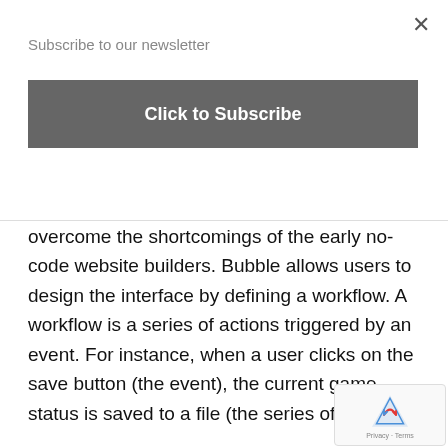×
Subscribe to our newsletter
Click to Subscribe
overcome the shortcomings of the early no-code website builders. Bubble allows users to design the interface by defining a workflow. A workflow is a series of actions triggered by an event. For instance, when a user clicks on the save button (the event), the current game status is saved to a file (the series of actions).
Meanwhile, Wix launched an HTML5 site builder that includes a library of website templates. In addition, Wix supports modules – for example, data analysis of visitor data such as contact information, messages, purchases and bookings; booking support for hotels and vacation rentals; and information about products, inventory,